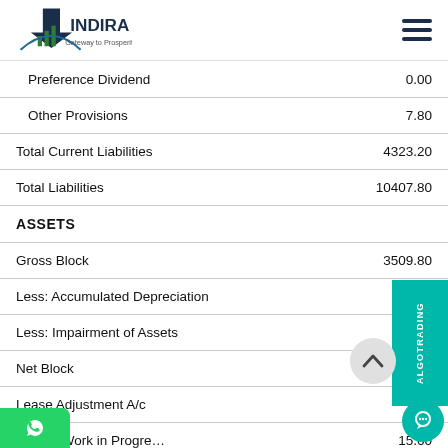INDIRA Gateway to Prosperity
| Item | Value |
| --- | --- |
| Preference Dividend | 0.00 |
| Other Provisions | 7.80 |
| Total Current Liabilities | 4323.20 |
| Total Liabilities | 10407.80 |
| ASSETS |  |
| Gross Block | 3509.80 |
| Less: Accumulated Depreciation | 930.1 |
| Less: Impairment of Assets | 0.0 |
| Net Block | 2579.7 |
| Lease Adjustment A/c | 0.0 |
| Capital Work in Progress | 15.60 |